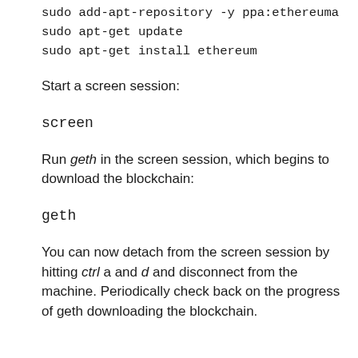sudo add-apt-repository -y ppa:ethereum/
sudo apt-get update
sudo apt-get install ethereum
Start a screen session:
screen
Run geth in the screen session, which begins to download the blockchain:
geth
You can now detach from the screen session by hitting ctrl a and d and disconnect from the machine. Periodically check back on the progress of geth downloading the blockchain.